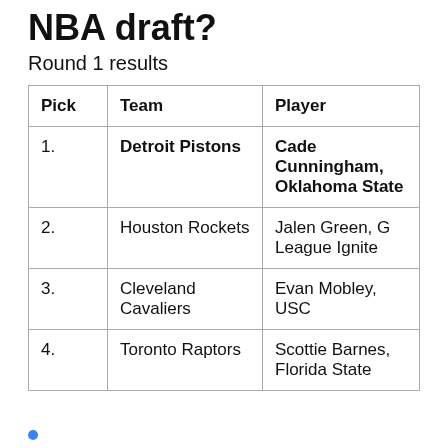NBA draft?
Round 1 results
| Pick | Team | Player |
| --- | --- | --- |
| 1. | Detroit Pistons | Cade Cunningham, Oklahoma State |
| 2. | Houston Rockets | Jalen Green, G League Ignite |
| 3. | Cleveland Cavaliers | Evan Mobley, USC |
| 4. | Toronto Raptors | Scottie Barnes, Florida State |